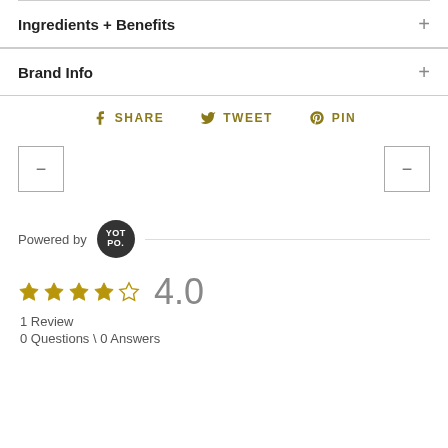Ingredients + Benefits
Brand Info
SHARE  TWEET  PIN
[Figure (other): Left and right navigation arrow buttons (minus/collapse icons in square borders)]
Powered by YOTPO
4.0
1 Review
0 Questions \ 0 Answers